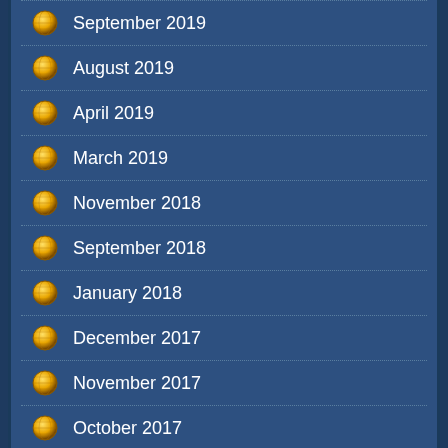September 2019
August 2019
April 2019
March 2019
November 2018
September 2018
January 2018
December 2017
November 2017
October 2017
September 2017
August 2017
July 2017
March 2017
February 2017